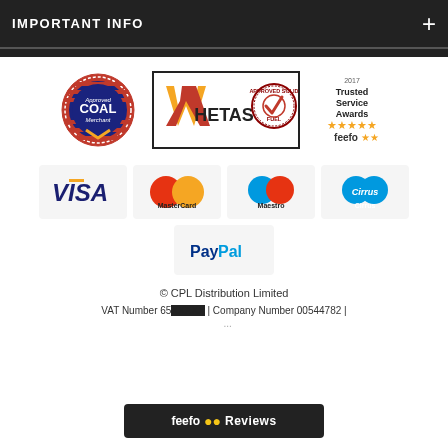IMPORTANT INFO
[Figure (logo): Approved Coal Merchant circular badge logo]
[Figure (logo): HETAS Approved Solid Fuel logo with bordered rectangle]
[Figure (logo): Feefo 2017 Trusted Service Awards logo with stars]
[Figure (logo): VISA payment card logo]
[Figure (logo): MasterCard payment card logo]
[Figure (logo): Maestro payment card logo]
[Figure (logo): Cirrus payment card logo]
[Figure (logo): PayPal payment logo]
© CPL Distribution Limited
VAT Number 65... | Company Number 00544782 |
[Figure (logo): Feefo Reviews bar at bottom]